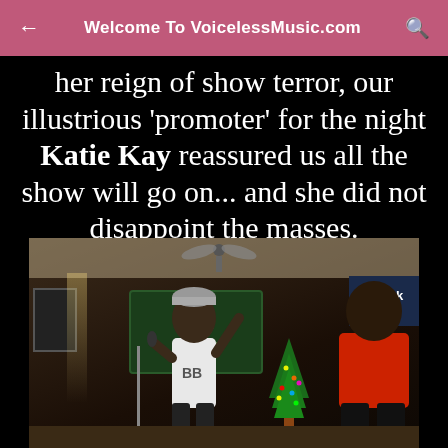Welcome To VoicelessMusic.com
her reign of show terror, our illustrious 'promoter' for the night Katie Kay reassured us all the show will go on... and she did not disappoint the masses.
[Figure (photo): Two men performing on stage at Shillelagh Tavern bar, with Christmas tree in background, one wearing white shirt and beanie holding microphone, another in red shirt on the right.]